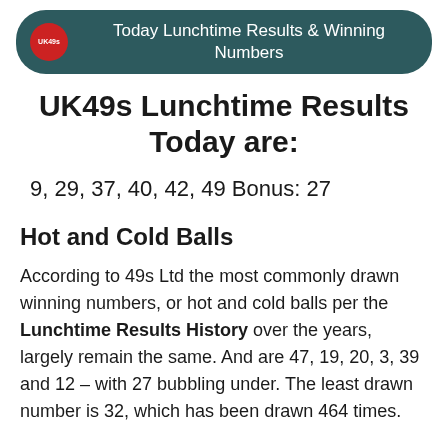Today Lunchtime Results & Winning Numbers
UK49s Lunchtime Results Today are:
9, 29, 37, 40, 42, 49 Bonus: 27
Hot and Cold Balls
According to 49s Ltd the most commonly drawn winning numbers, or hot and cold balls per the Lunchtime Results History over the years, largely remain the same. And are 47, 19, 20, 3, 39 and 12 – with 27 bubbling under. The least drawn number is 32, which has been drawn 464 times.